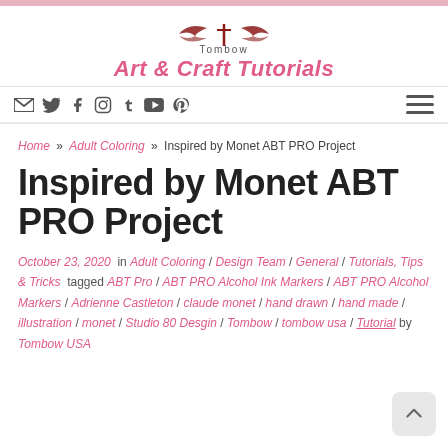Tombow Art & Craft Tutorials
Social navigation icons: email, twitter, facebook, instagram, tumblr, youtube, pinterest, and hamburger menu
Home » Adult Coloring » Inspired by Monet ABT PRO Project
Inspired by Monet ABT PRO Project
October 23, 2020 in Adult Coloring / Design Team / General / Tutorials, Tips & Tricks tagged ABT Pro / ABT PRO Alcohol Ink Markers / ABT PRO Alcohol Markers / Adrienne Castleton / claude monet / hand drawn / hand made / illustration / monet / Studio 80 Desgin / Tombow / tombow usa / Tutorial by Tombow USA